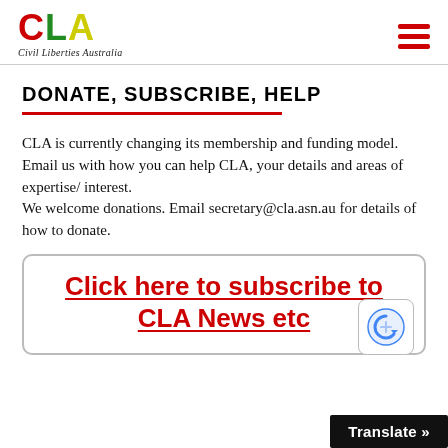CLA - Civil Liberties Australia
DONATE, SUBSCRIBE, HELP
CLA is currently changing its membership and funding model.
Email us with how you can help CLA, your details and areas of expertise/ interest.
We welcome donations. Email secretary@cla.asn.au for details of how to donate.
Click here to subscribe to CLA News etc
Translate »